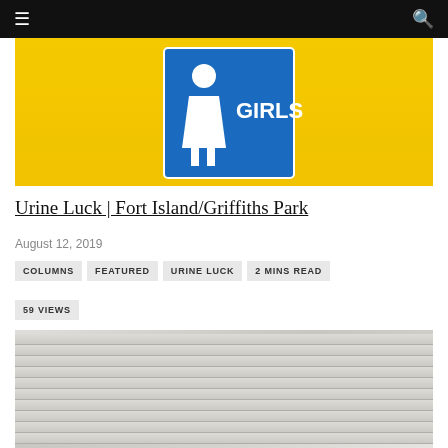Navigation bar with menu and search icons
[Figure (photo): Yellow wall background with a blue 'GIRLS' bathroom sign featuring a female pictogram in white]
Urine Luck | Fort Island/Griffiths Park
August 12, 2019
COLUMNS
FEATURED
URINE LUCK
2 MINS READ
59 VIEWS
[Figure (photo): Interior photo of a bathroom or utility room showing horizontal white/grey slats or panels, bright light visible at top]